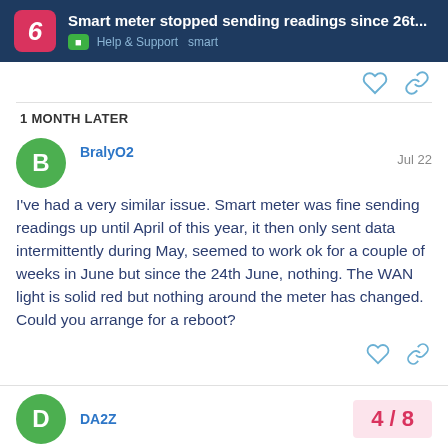Smart meter stopped sending readings since 26t... | Help & Support  smart
1 MONTH LATER
BralyO2   Jul 22
I've had a very similar issue. Smart meter was fine sending readings up until April of this year, it then only sent data intermittently during May, seemed to work ok for a couple of weeks in June but since the 24th June, nothing. The WAN light is solid red but nothing around the meter has changed. Could you arrange for a reboot?
DA2Z   4 / 8